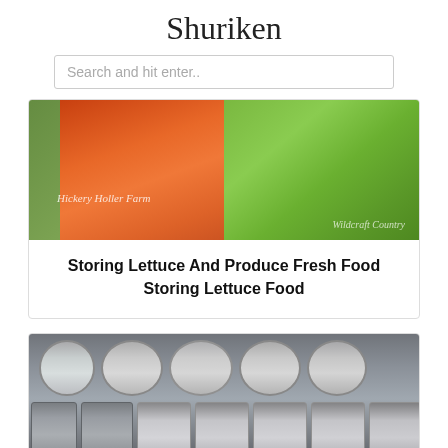Shuriken
Search and hit enter..
[Figure (photo): Canned/jarred carrots and green celery stalks in mason jars with watermarks 'Hickery Holler Farm' and 'Wildcraft Country']
Storing Lettuce And Produce Fresh Food Storing Lettuce Food
[Figure (photo): Multiple small mason jars with metal lids arranged on shelves, containing pale/cream colored contents]